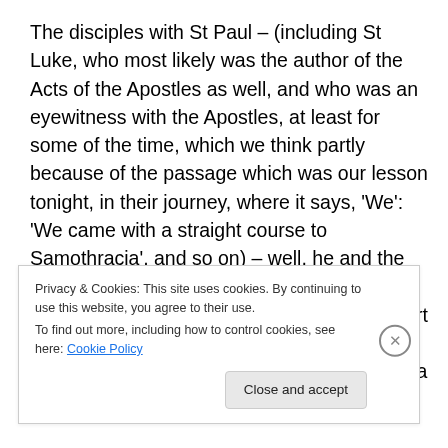The disciples with St Paul – (including St Luke, who most likely was the author of the Acts of the Apostles as well, and who was an eyewitness with the Apostles, at least for some of the time, which we think partly because of the passage which was our lesson tonight, in their journey, where it says, 'We': 'We came with a straight course to Samothracia', and so on) – well, he and the disciples went to pray, not just in the synagogues, but in Philippi they went to a part of the river bank, where people went to pray; actually, not just any 'people' went there, but a group
Privacy & Cookies: This site uses cookies. By continuing to use this website, you agree to their use.
To find out more, including how to control cookies, see here: Cookie Policy